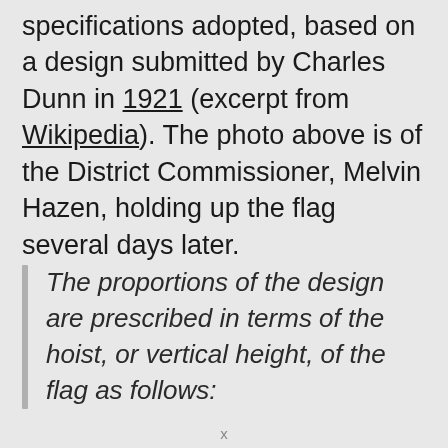specifications adopted, based on a design submitted by Charles Dunn in 1921 (excerpt from Wikipedia). The photo above is of the District Commissioner, Melvin Hazen, holding up the flag several days later.
The proportions of the design are prescribed in terms of the hoist, or vertical height, of the flag as follows: